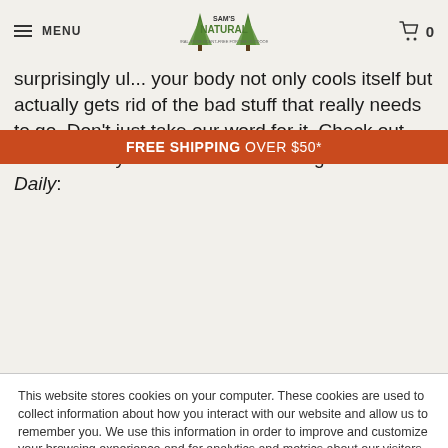MENU | Sam's Natural logo | Cart 0
surprisingly ul... your body not only cools itself but actually gets rid of the bad stuff that really needs to go. Don't just take our word for it. Check out these sweaty cool benefits according to Medical Daily:
FREE SHIPPING OVER $50*
This website stores cookies on your computer. These cookies are used to collect information about how you interact with our website and allow us to remember you. We use this information in order to improve and customize your browsing experience and for analytics and metrics about our visitors both on this website and other media. To find out more about the cookies we use, see our Privacy Policy.

We won't track your information when you visit our site. But in order to comply with your preferences, we'll have to use just one tiny cookie so that you're not asked to make this choice again.
Accept | Decline